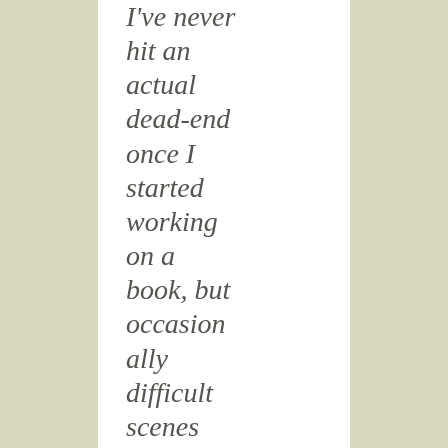I've never hit an actual dead-end once I started working on a book, but occasionally difficult scenes can bog me down, and I